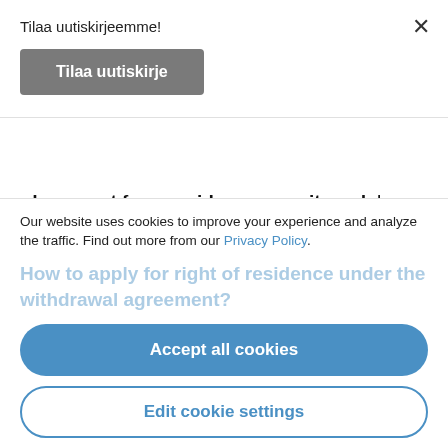Tilaa uutiskirjeemme!
Tilaa uutiskirje
document for a residence permit card. In Finland, this was initially incorrectly interpreted as a recommendation rather than an obligation. More
information...
Our website uses cookies to improve your experience and analyze the traffic. Find out more from our Privacy Policy.
How to apply for right of residence under the withdrawal agreement?
Accept all cookies
Edit cookie settings